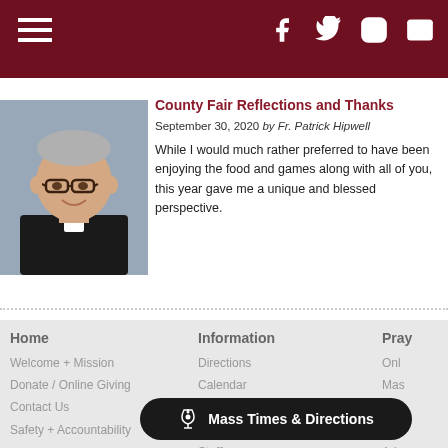Navigation header with hamburger menu and social icons (Facebook, Twitter, Instagram, Email)
County Fair Reflections and Thanks
September 30, 2020 by Fr. Patrick Hipwell
While I would much rather preferred to have been enjoying the food and games along with all of you, this gave me a unique and blessed perspective.
[Figure (photo): Headshot of Fr. Patrick Hipwell, a priest wearing black clerical clothing with white collar tab, glasses, grey hair, smiling against a grey background]
Home
Welcome + Mission
Donate / Online Giving
Contact Us
Safety + Accountability
Information
Directions
Calendar
Content Submissions
Work at Nativity
Staff
Pray
Onl
Mas
Len
Sac
Ado
Mass Times & Directions